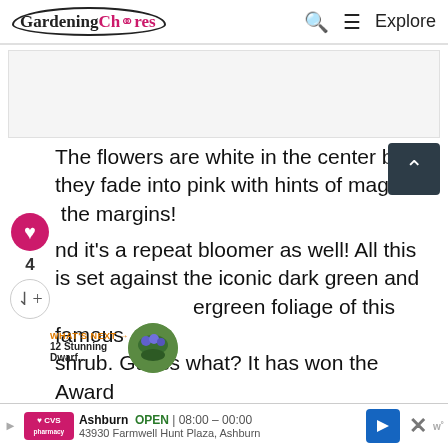Gardening Chores  🔍 ≡ Explore
[Figure (other): Advertisement placeholder banner]
The flowers are white in the center but they fade into pink with hints of magenta at the margins!
nd it's a repeat bloomer as well! All this is set against the iconic dark green and ergreen foliage of this famous shrub. Guess what? It has won the Award of Garden Merit by the Royal Horticultural S...
[Figure (photo): What's Next thumbnail: 12 Stunning Dwarf... - circular photo of shrub with blue flowers]
WHAT'S NEXT → 12 Stunning Dwarf...
[Figure (other): CVS Pharmacy ad: Ashburn OPEN 08:00 – 00:00, 43930 Farmwell Hunt Plaza, Ashburn]